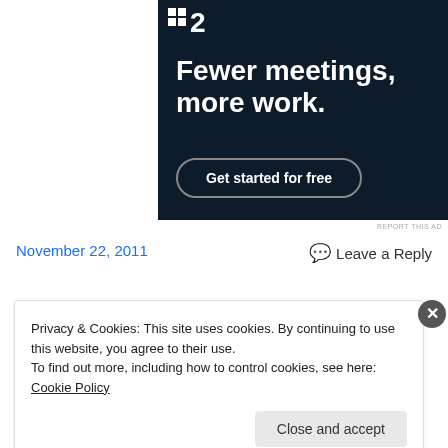[Figure (infographic): Dark navy advertisement banner for an app (appears to be P2/Basecamp style tool). Shows logo with dot-grid and '2', headline 'Fewer meetings, more work.' and a rounded button 'Get started for free'.]
REPORT THIS AD
November 22, 2011
Leave a Reply
Privacy & Cookies: This site uses cookies. By continuing to use this website, you agree to their use.
To find out more, including how to control cookies, see here: Cookie Policy
Close and accept